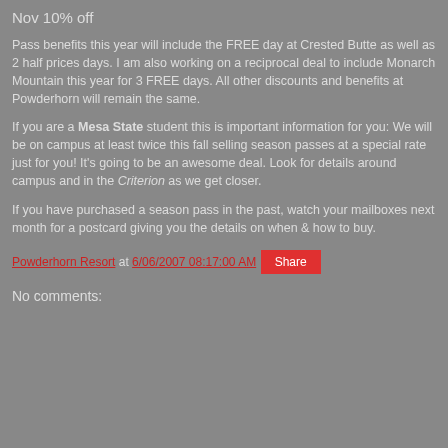Nov 10% off
Pass benefits this year will include the FREE day at Crested Butte as well as 2 half prices days. I am also working on a reciprocal deal to include Monarch Mountain this year for 3 FREE days. All other discounts and benefits at Powderhorn will remain the same.
If you are a Mesa State student this is important information for you: We will be on campus at least twice this fall selling season passes at a special rate just for you! It's going to be an awesome deal. Look for details around campus and in the Criterion as we get closer.
If you have purchased a season pass in the past, watch your mailboxes next month for a postcard giving you the details on when & how to buy.
Powderhorn Resort at 6/06/2007 08:17:00 AM
Share
No comments: